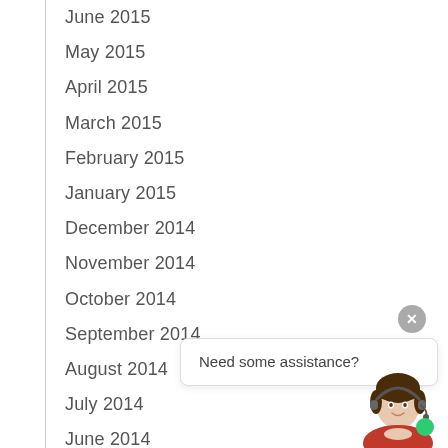June 2015
May 2015
April 2015
March 2015
February 2015
January 2015
December 2014
November 2014
October 2014
September 2014
August 2014
July 2014
June 2014
May 2014
April 2014
March 2014